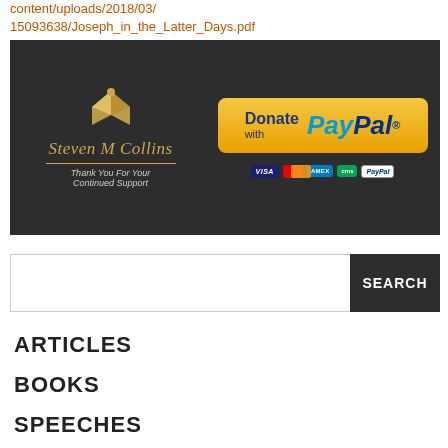content/uploads/2018/03/
15093638/Joseph_in_the_Latter_Days.pdf
[Figure (illustration): Steven M Collins website banner with dark background. Left side shows a gold book icon and cursive 'Steven M Collins' text with tagline 'Thank You For Your Continued Support'. Right side shows a yellow 'Donate with PayPal' button and credit card icons (Visa, Mastercard, Amex, cms, PayPal).]
SEARCH
ARTICLES
BOOKS
SPEECHES